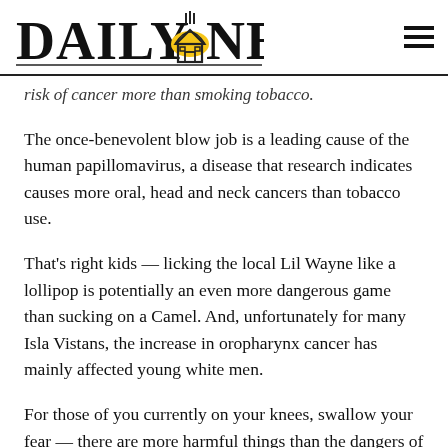DAILY NEXUS
risk of cancer more than smoking tobacco.
The once-benevolent blow job is a leading cause of the human papillomavirus, a disease that research indicates causes more oral, head and neck cancers than tobacco use.
That's right kids — licking the local Lil Wayne like a lollipop is potentially an even more dangerous game than sucking on a Camel. And, unfortunately for many Isla Vistans, the increase in oropharynx cancer has mainly affected young white men.
For those of you currently on your knees, swallow your fear — there are more harmful things than the dangers of dome. According to the research, those with HPV-related